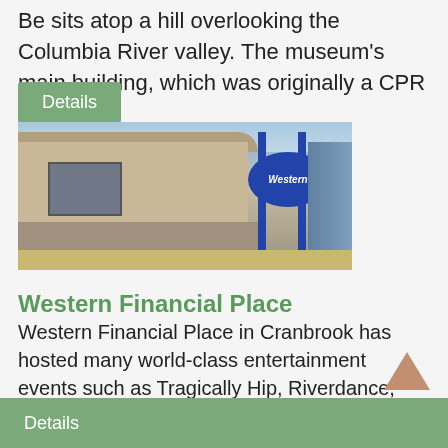Be sits atop a hill overlooking the Columbia River valley. The museum's main building, which was originally a CPR ...
Details
[Figure (photo): Exterior photo of Western Financial Place in Cranbrook — a large tan/beige arena building with curved roof, blue steel sign structure with Western logo oval sign, parking lot in foreground.]
Western Financial Place
Western Financial Place in Cranbrook has hosted many world-class entertainment events such as Tragically Hip, Riverdance, Randy Travis, Bob Dylan and others. Built in 2000, ...
Details